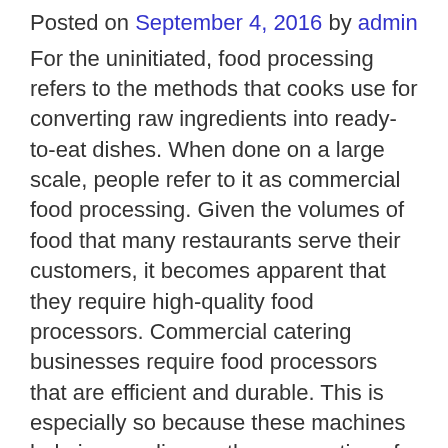Posted on September 4, 2016 by admin
For the uninitiated, food processing refers to the methods that cooks use for converting raw ingredients into ready-to-eat dishes. When done on a large scale, people refer to it as commercial food processing. Given the volumes of food that many restaurants serve their customers, it becomes apparent that they require high-quality food processors. Commercial catering businesses require food processors that are efficient and durable. This is especially so because these machines help in speeding up the preparation of food. The faster the preparation of food takes place, the lesser the customer has to wait for the order. Thus, food processors play a considerable role in keeping customers happy.
It is worth highlighting that there are no uniform categories that help to classify commercial food processing equipment. However, commercial food processing equipment typically comprise: